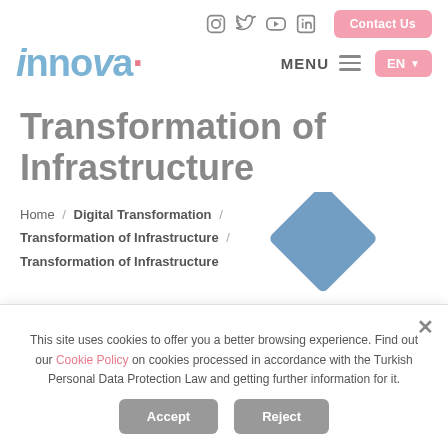Contact Us | MENU | EN
[Figure (logo): INNOVA company logo in blue with pink dot]
Transformation of Infrastructure
Home / Digital Transformation / Transformation of Infrastructure / Transformation of Infrastructure
This site uses cookies to offer you a better browsing experience. Find out our Cookie Policy on cookies processed in accordance with the Turkish Personal Data Protection Law and getting further information for it.
Accept | Reject